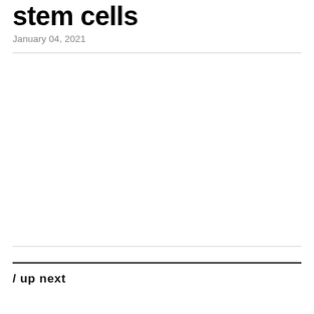stem cells
January 04, 2021
/ up next